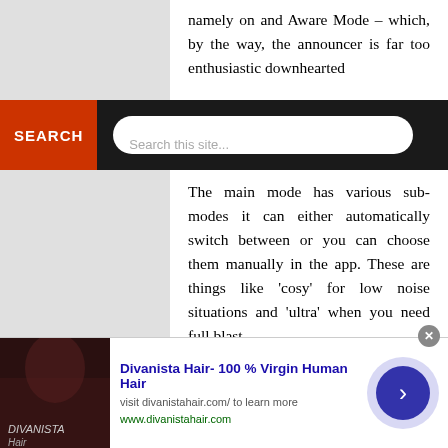namely on and Aware Mode – which, by the way, the announcer is far too enthusiastic downhearted
The main mode has various sub-modes it can either automatically switch between or you can choose them manually in the app. These are things like 'cosy' for low noise situations and 'ultra' when you need full blast.
For me, the differences are subtle, and the Aware Mode is a tad over the top. It would be preferable to customise these modes with a slider. If you're not connecting to an Android device with the...
[Figure (screenshot): Advertisement banner for Divanista Hair - 100% Virgin Human Hair, with image, text, and navigation arrow]